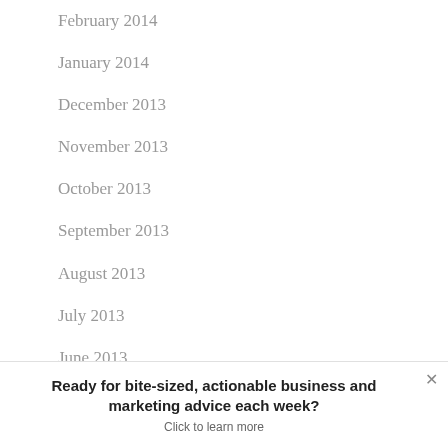February 2014
January 2014
December 2013
November 2013
October 2013
September 2013
August 2013
July 2013
June 2013
Ready for bite-sized, actionable business and marketing advice each week?
Click to learn more